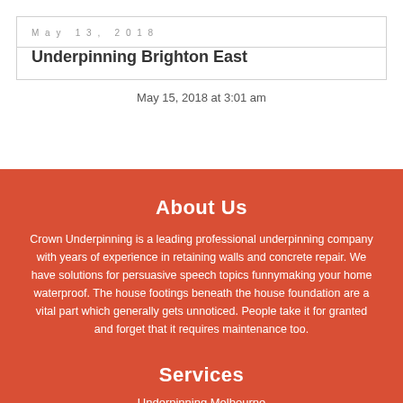May 13, 2018
Underpinning Brighton East
May 15, 2018 at 3:01 am
About Us
Crown Underpinning is a leading professional underpinning company with years of experience in retaining walls and concrete repair. We have solutions for persuasive speech topics funnymaking your home waterproof. The house footings beneath the house foundation are a vital part which generally gets unnoticed. People take it for granted and forget that it requires maintenance too.
Services
Underpinning Melbourne